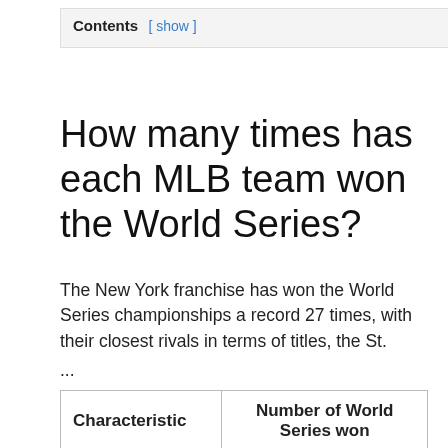Contents [ show ]
How many times has each MLB team won the World Series?
The New York franchise has won the World Series championships a record 27 times, with their closest rivals in terms of titles, the St.
...
Number of World Series championships won by team from 1903 to 2021.
| Characteristic | Number of World Series won |
| --- | --- |